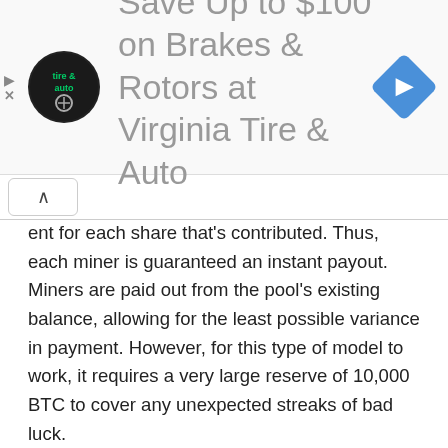[Figure (other): Advertisement banner for Virginia Tire & Auto offering Save Up to $100 on Brakes & Rotors, with circular logo and blue diamond navigation icon]
ent for each share that's contributed. Thus, each miner is guaranteed an instant payout. Miners are paid out from the pool's existing balance, allowing for the least possible variance in payment. However, for this type of model to work, it requires a very large reserve of 10,000 BTC to cover any unexpected streaks of bad luck.
Double Geometric Method (DGM):
The DGM model is a hybrid approach that enables the operator to absorb some of the risk. Here, the operator receives a portion of payouts during short rounds and then returns it during longer rounds to